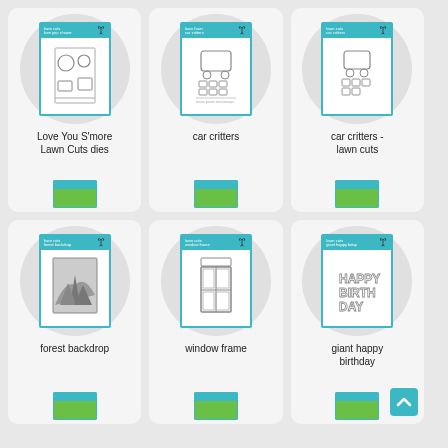[Figure (illustration): Product card for Love You S'more Lawn Cuts dies showing craft die packaging]
Love You S'more Lawn Cuts dies
[Figure (illustration): Product card for car critters showing stamp set packaging]
car critters
[Figure (illustration): Product card for car critters lawn cuts showing die packaging]
car critters - lawn cuts
[Figure (illustration): Product card for forest backdrop showing die packaging with forest scene]
forest backdrop
[Figure (illustration): Product card for window frame showing die packaging]
window frame
[Figure (illustration): Product card for giant happy birthday showing die packaging with large letters]
giant happy birthday